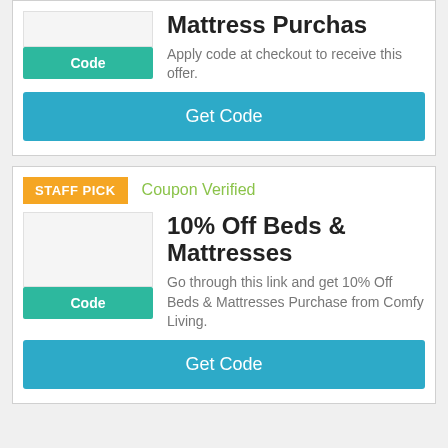Mattress Purchas
Apply code at checkout to receive this offer.
Get Code
STAFF PICK
Coupon Verified
10% Off Beds & Mattresses
Go through this link and get 10% Off Beds & Mattresses Purchase from Comfy Living.
Get Code